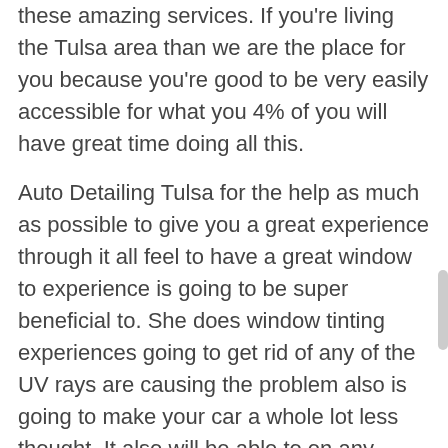these amazing services. If you're living the Tulsa area than we are the place for you because you're good to be very easily accessible for what you 4% of you will have great time doing all this.
Auto Detailing Tulsa for the help as much as possible to give you a great experience through it all feel to have a great window to experience is going to be super beneficial to. She does window tinting experiences going to get rid of any of the UV rays are causing the problem also is going to make your car a whole lot less thought. It also will be able to on any protection to your windows your wanting and are going to be able to get this note time. We want to be